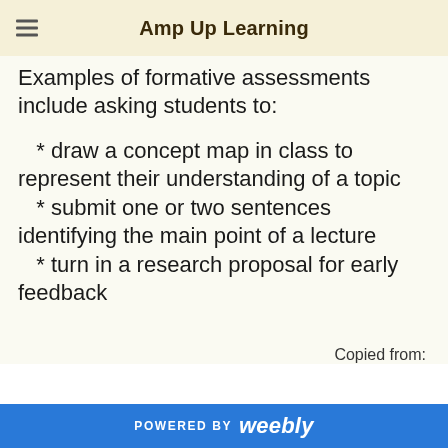Amp Up Learning
Examples of formative assessments include asking students to:
* draw a concept map in class to represent their understanding of a topic
* submit one or two sentences identifying the main point of a lecture
* turn in a research proposal for early feedback
Copied from:
POWERED BY weebly